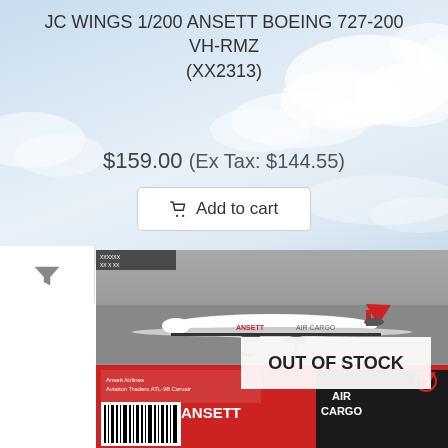JC WINGS 1/200 ANSETT BOEING 727-200 VH-RMZ (XX2313)
$159.00 (Ex Tax: $144.55)
Add to cart
[Figure (photo): Product photo of a 1/200 scale model airplane (Ansett Airlines livery, white with red tail) displayed on top of its retail box. The box is red and black with 'ANSETT AIR CARGO' branding. An 'OUT OF STOCK' overlay appears on the image.]